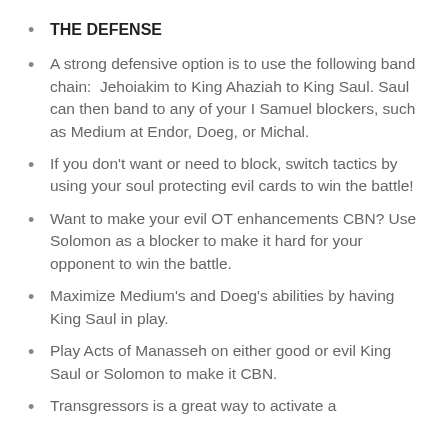THE DEFENSE
A strong defensive option is to use the following band chain:  Jehoiakim to King Ahaziah to King Saul. Saul can then band to any of your I Samuel blockers, such as Medium at Endor, Doeg, or Michal.
If you don't want or need to block, switch tactics by using your soul protecting evil cards to win the battle!
Want to make your evil OT enhancements CBN? Use Solomon as a blocker to make it hard for your opponent to win the battle.
Maximize Medium's and Doeg's abilities by having King Saul in play.
Play Acts of Manasseh on either good or evil King Saul or Solomon to make it CBN.
Transgressors is a great way to activate a